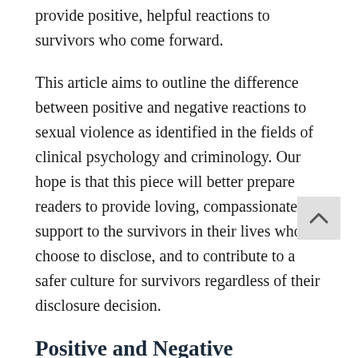provide positive, helpful reactions to survivors who come forward.
This article aims to outline the difference between positive and negative reactions to sexual violence as identified in the fields of clinical psychology and criminology. Our hope is that this piece will better prepare readers to provide loving, compassionate support to the survivors in their lives who choose to disclose, and to contribute to a safer culture for survivors regardless of their disclosure decision.
Positive and Negative Reactions
Social reactions to disclosures of violence have